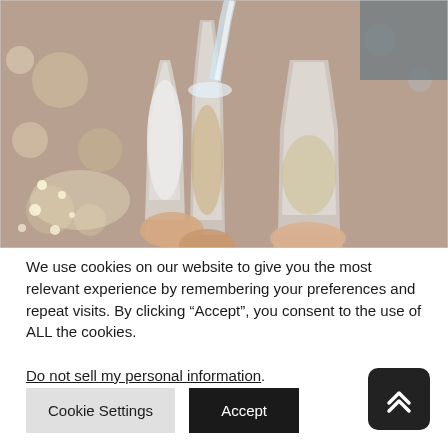[Figure (photo): Hands holding champagne glasses being clinked together in a toast, with water or champagne being poured in, bokeh background with warm tones.]
We use cookies on our website to give you the most relevant experience by remembering your preferences and repeat visits. By clicking “Accept”, you consent to the use of ALL the cookies.
Do not sell my personal information.